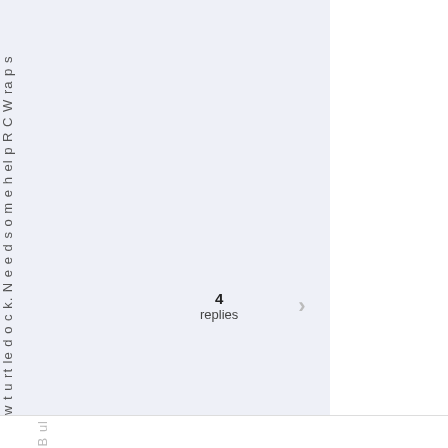w t u rt le d o c k. N e e d s o m e h el p R C W ra p s
4 replies
B ul